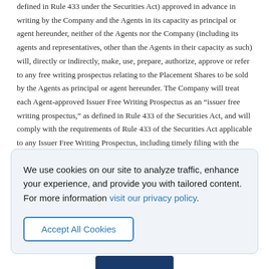defined in Rule 433 under the Securities Act) approved in advance in writing by the Company and the Agents in its capacity as principal or agent hereunder, neither of the Agents nor the Company (including its agents and representatives, other than the Agents in their capacity as such) will, directly or indirectly, make, use, prepare, authorize, approve or refer to any free writing prospectus relating to the Placement Shares to be sold by the Agents as principal or agent hereunder. The Company will treat each Agent-approved Issuer Free Writing Prospectus as an “issuer free writing prospectus,” as defined in Rule 433 of the Securities Act, and will comply with the requirements of Rule 433 of the Securities Act applicable to any Issuer Free Writing Prospectus, including timely filing with the Commission where required, legending and record keeping.
We use cookies on our site to analyze traffic, enhance your experience, and provide you with tailored content. For more information visit our privacy policy.
Accept All Cookies